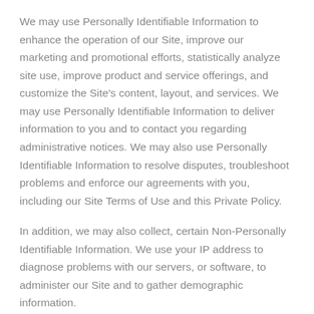We may use Personally Identifiable Information to enhance the operation of our Site, improve our marketing and promotional efforts, statistically analyze site use, improve product and service offerings, and customize the Site's content, layout, and services. We may use Personally Identifiable Information to deliver information to you and to contact you regarding administrative notices. We may also use Personally Identifiable Information to resolve disputes, troubleshoot problems and enforce our agreements with you, including our Site Terms of Use and this Private Policy.
In addition, we may also collect, certain Non-Personally Identifiable Information. We use your IP address to diagnose problems with our servers, or software, to administer our Site and to gather demographic information.
With whom do we share your information?
When you choose to register or set up an account at our Site